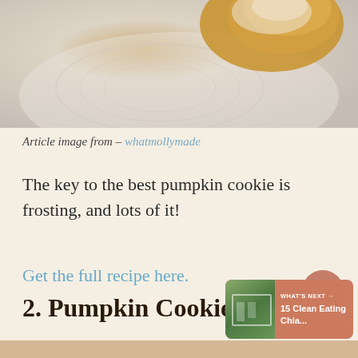[Figure (photo): Cropped photo of a pumpkin cookie on a decorative plate, showing golden/orange cookie on a white embossed plate]
Article image from – whatmollymade
The key to the best pumpkin cookie is frosting, and lots of it!
Get the full recipe here.
2. Pumpkin Cookies